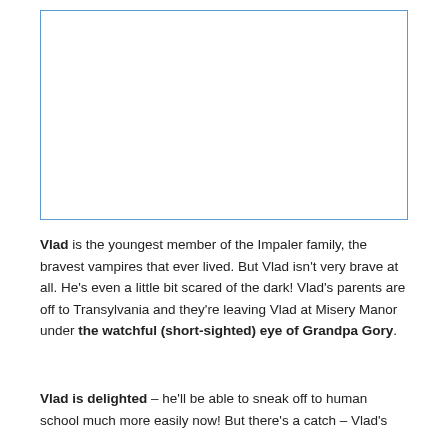[Figure (illustration): Empty bordered box placeholder for an illustration, likely a children's book image]
Vlad is the youngest member of the Impaler family, the bravest vampires that ever lived. But Vlad isn't very brave at all. He's even a little bit scared of the dark! Vlad's parents are off to Transylvania and they're leaving Vlad at Misery Manor under the watchful (short-sighted) eye of Grandpa Gory.
Vlad is delighted – he'll be able to sneak off to human school much more easily now! But there's a catch – Vlad's